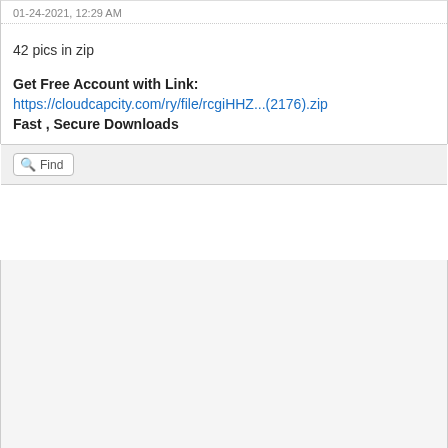01-24-2021, 12:29 AM
42 pics in zip
Get Free Account with Link:
https://cloudcapcity.com/ry/file/rcgiHHZ...(2176).zip
Fast , Secure Downloads
Find